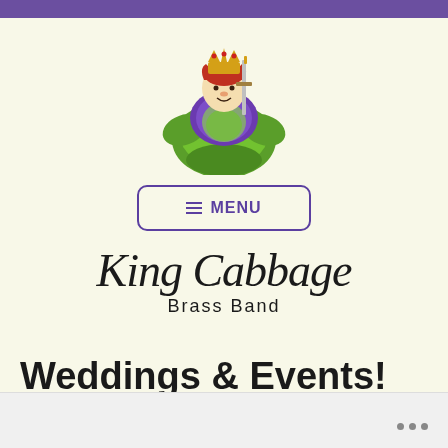[Figure (logo): King Cabbage Brass Band logo: a cartoon king figure with crown and sword emerging from a large green cabbage, wearing purple robe]
[Figure (other): Navigation menu button with hamburger icon and MENU text, purple border on light yellow background]
King Cabbage Brass Band
Weddings & Events!
(faint partial text visible at bottom edge)